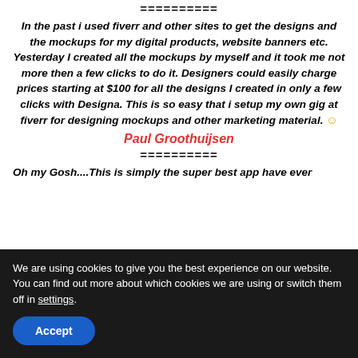==========
In the past i used fiverr and other sites to get the designs and the mockups for my digital products, website banners etc. Yesterday I created all the mockups by myself and it took me not more then a few clicks to do it. Designers could easily charge prices starting at $100 for all the designs I created in only a few clicks with Designa. This is so easy that i setup my own gig at fiverr for designing mockups and other marketing material. ☺
Paul Groothuijsen
==========
Oh my Gosh....This is simply the super best app have ever
We are using cookies to give you the best experience on our website.
You can find out more about which cookies we are using or switch them off in settings.
Accept